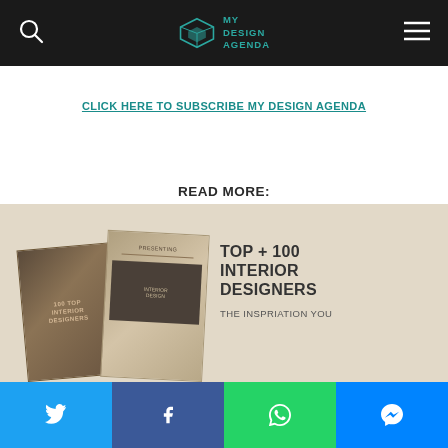MY DESIGN AGENDA
CLICK HERE TO SUBSCRIBE MY DESIGN AGENDA
READ MORE:
MAY AGENDA – THE BEST INTERIOR DESIGN EVENTS THAT HAPPEN THIS MONTH
[Figure (illustration): Banner showing stacked books with text TOP + 100 INTERIOR DESIGNERS THE INSPIRATION YOU on a beige background]
Twitter | Facebook | WhatsApp | Messenger social share buttons